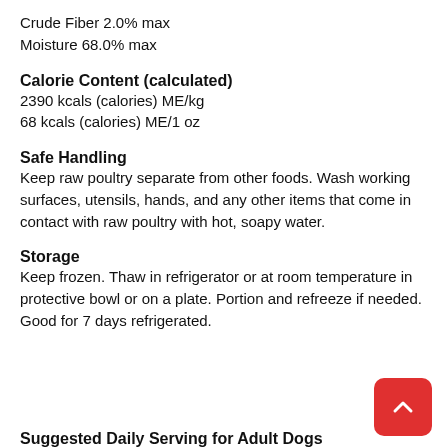Crude Fiber 2.0% max
Moisture 68.0% max
Calorie Content (calculated)
2390 kcals (calories) ME/kg
68 kcals (calories) ME/1 oz
Safe Handling
Keep raw poultry separate from other foods. Wash working surfaces, utensils, hands, and any other items that come in contact with raw poultry with hot, soapy water.
Storage
Keep frozen. Thaw in refrigerator or at room temperature in protective bowl or on a plate. Portion and refreeze if needed. Good for 7 days refrigerated.
Suggested Daily Serving for Adult Dogs